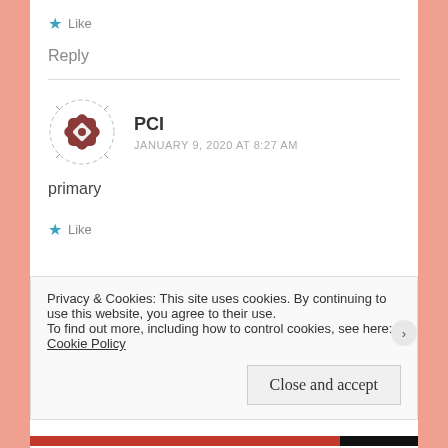★ Like
Reply
PCI
JANUARY 9, 2020 AT 8:27 AM
primary
★ Like
Privacy & Cookies: This site uses cookies. By continuing to use this website, you agree to their use.
To find out more, including how to control cookies, see here: Cookie Policy
Close and accept